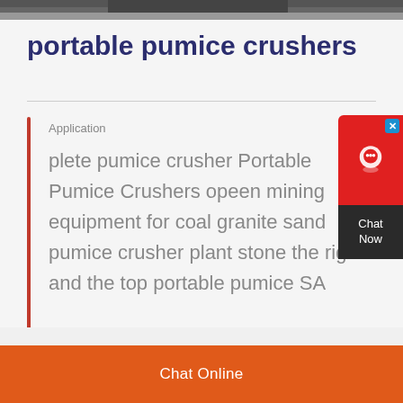[Figure (photo): Top strip showing partial view of industrial mining/crusher equipment, dark machinery on grey background]
portable pumice crushers
Application
plete pumice crusher Portable Pumice Crushers opeen mining equipment for coal granite sand pumice crusher plant stone the right and the top portable pumice SA
Chat Online